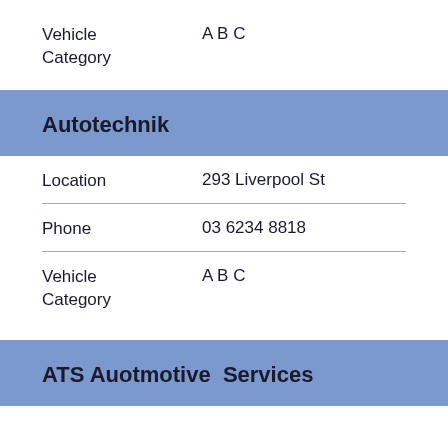Vehicle Category    A B C
Autotechnik
Location    293 Liverpool St
Phone    03 6234 8818
Vehicle Category    A B C
ATS Auotmotive  Services